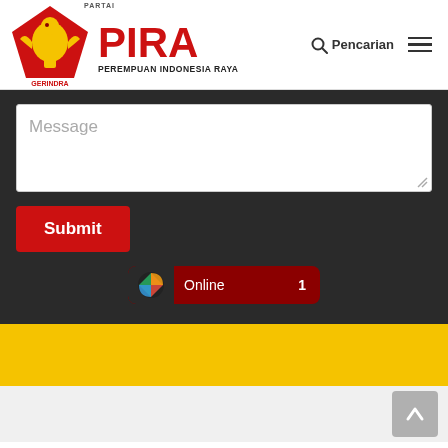[Figure (logo): PIRA Perempuan Indonesia Raya website header with Gerindra party logo (yellow eagle on red pentagon shield), PIRA title in red, Pencarian (search) button and hamburger menu]
Message
Submit
[Figure (screenshot): Online status widget showing colorful icon, 'Online' text, and count '1' on dark red background]
[Figure (other): Yellow banner section at bottom]